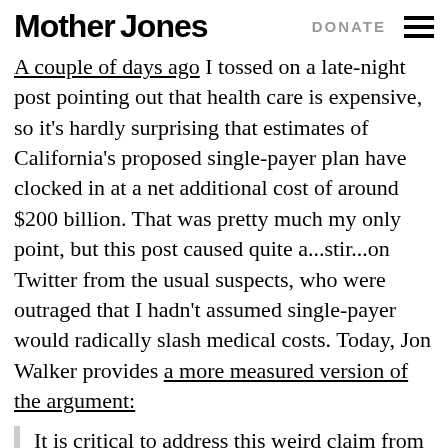Mother Jones  DONATE
A couple of days ago I tossed on a late-night post pointing out that health care is expensive, so it's hardly surprising that estimates of California's proposed single-payer plan have clocked in at a net additional cost of around $200 billion. That was pretty much my only point, but this post caused quite a...stir...on Twitter from the usual suspects, who were outraged that I hadn't assumed single-payer would radically slash medical costs. Today, Jon Walker provides a more measured version of the argument:
It is critical to address this weird claim from Drum because the idea that single-payer